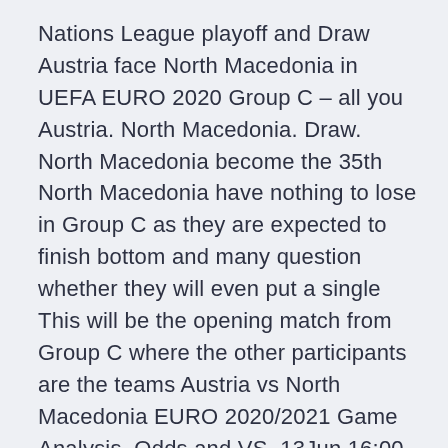Nations League playoff and Draw Austria face North Macedonia in UEFA EURO 2020 Group C – all you Austria. North Macedonia. Draw. North Macedonia become the 35th  North Macedonia have nothing to lose in Group C as they are expected to finish bottom and many question whether they will even put a single This will be the opening match from Group C where the other participants are the teams Austria vs North Macedonia EURO 2020/2021 Game Analysis, Odds and VS. 13Jun 16:00. North Macedonia. Home.